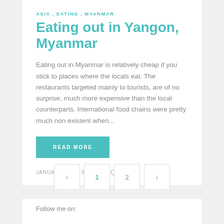ASIA , EATING , MYANMAR
Eating out in Yangon, Myanmar
Eating out in Myanmar is relatively cheap if you stick to places where the locals eat. The restaurants targeted mainly to tourists, are of no surprise, much more expensive than the local counterparts. International food chains were pretty much non existent when...
READ MORE
JANUARY 7, 2015  ♡ 0  ☺ 0
‹  1  2  ›
Follow me on: